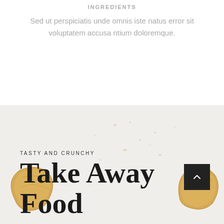INGREDIENTS
Sed ut perspiciatis unde omnis iste natus error sit voluptatem accusa ntium doloremque.
[Figure (photo): Light stone/marble surface background with two golden crescent-shaped food items (fortune cookies or similar) on the left and right sides. Text overlay reads 'TASTY AND CRUNCHY' and 'Take Away Food' in large serif font. A dark square button with an upward chevron is visible on the right side.]
TASTY AND CRUNCHY
Take Away Food